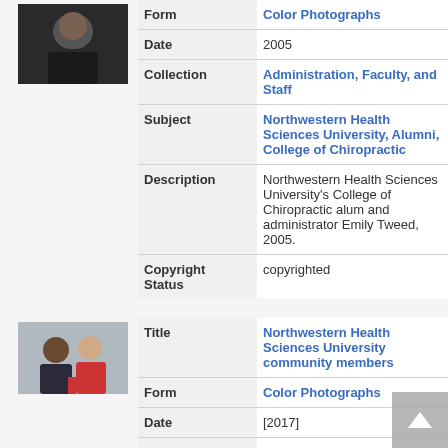[Figure (photo): Thumbnail photo of a person (dark clothing, black background)]
| Field | Value |
| --- | --- |
| Form | Color Photographs |
| Date | 2005 |
| Collection | Administration, Faculty, and Staff |
| Subject | Northwestern Health Sciences University, Alumni, College of Chiropractic |
| Description | Northwestern Health Sciences University's College of Chiropractic alum and administrator Emily Tweed, 2005. |
| Copyright Status | copyrighted |
[Figure (photo): Thumbnail photo of two people (man and woman) at an event]
| Field | Value |
| --- | --- |
| Title | Northwestern Health Sciences University community members |
| Form | Color Photographs |
| Date | [2017] |
| Collection | Diversity, Equity, Inclusion, and |
| Subject | Alumni, Northwestern Health Sciences University, College of Chiropractic |